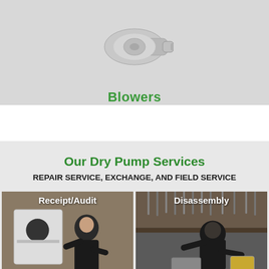[Figure (photo): Industrial blower equipment product photo on grey background]
Blowers
Our Dry Pump Services
REPAIR SERVICE, EXCHANGE, AND FIELD SERVICE
[Figure (photo): Receipt/Audit - technician working at workbench with equipment]
[Figure (photo): Disassembly - technician disassembling pump components with tools visible on pegboard]